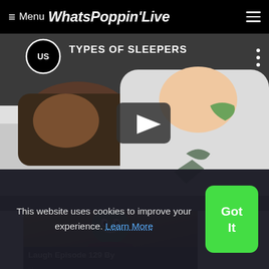≡ Menu WhatsPoppin'Live
[Figure (screenshot): Video thumbnail showing two people sleeping in bed. Channel logo (US) shown top left with title 'TYPES OF SLEEPERS'. Play button in center. Three-dot menu icon top right.]
[Figure (photo): Thumbnail of a person wearing a green mask and red suit costume, resembling The Mask character. Caption reads: Laugh Episode 129 By]
Laugh Episode 129 By
This website uses cookies to improve your experience. Learn More
Got It